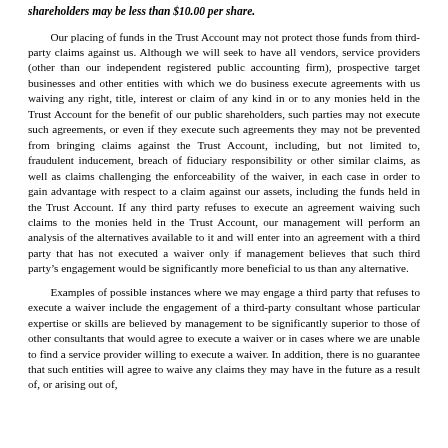shareholders may be less than $10.00 per share.
Our placing of funds in the Trust Account may not protect those funds from third-party claims against us. Although we will seek to have all vendors, service providers (other than our independent registered public accounting firm), prospective target businesses and other entities with which we do business execute agreements with us waiving any right, title, interest or claim of any kind in or to any monies held in the Trust Account for the benefit of our public shareholders, such parties may not execute such agreements, or even if they execute such agreements they may not be prevented from bringing claims against the Trust Account, including, but not limited to, fraudulent inducement, breach of fiduciary responsibility or other similar claims, as well as claims challenging the enforceability of the waiver, in each case in order to gain advantage with respect to a claim against our assets, including the funds held in the Trust Account. If any third party refuses to execute an agreement waiving such claims to the monies held in the Trust Account, our management will perform an analysis of the alternatives available to it and will enter into an agreement with a third party that has not executed a waiver only if management believes that such third party's engagement would be significantly more beneficial to us than any alternative.
Examples of possible instances where we may engage a third party that refuses to execute a waiver include the engagement of a third-party consultant whose particular expertise or skills are believed by management to be significantly superior to those of other consultants that would agree to execute a waiver or in cases where we are unable to find a service provider willing to execute a waiver. In addition, there is no guarantee that such entities will agree to waive any claims they may have in the future as a result of, or arising out of,